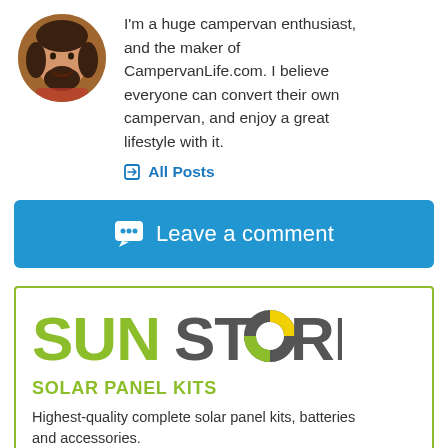[Figure (photo): Circular avatar photo of a man with dark hair and beard, smiling, wearing a red/plaid top, against a wooden background]
I'm a huge campervan enthusiast, and the maker of CampervanLife.com. I believe everyone can convert their own campervan, and enjoy a great lifestyle with it.
✎ All Posts
💬 Leave a comment
[Figure (logo): SUNSTORE logo with SUN in green and STORE in gray, with a circular sun graphic replacing the O]
SOLAR PANEL KITS
Highest-quality complete solar panel kits, batteries and accessories.